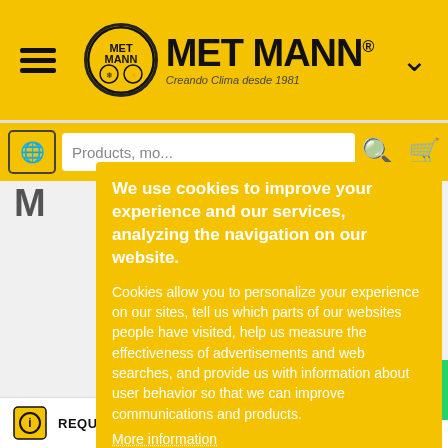[Figure (screenshot): Met Mann website header with hamburger menu, logo, and chevron on yellow background]
[Figure (screenshot): Search bar row with globe icon, search input placeholder 'Products, mo...', search icon, and cart icon]
We use cookies to improve your experience and our services, analyzing the navigation on our website.
Cookies allow you to personalize your experience on our sites, tell us which parts of our websites people have visited, help us measure the effectiveness of advertisements and web searches, and provide us with information about user behavior so that we can improve communications and products.
More information
I accept Cookies
Customize cookies
REQUEST INFORMATION